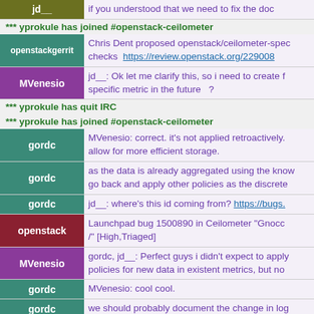jd__: if you understood that we need to fix the doc
*** yprokule has joined #openstack-ceilometer
openstackgerrit: Chris Dent proposed openstack/ceilometer-spec checks https://review.openstack.org/229008
MVenesio: jd__: Ok let me clarify this, so i need to create f specific metric in the future ?
*** yprokule has quit IRC
*** yprokule has joined #openstack-ceilometer
gordc: MVenesio: correct. it's not applied retroactively. allow for more efficient storage.
gordc: as the data is already aggregated using the know go back and apply other policies as the discrete
gordc: jd__: where's this id coming from? https://bugs.
openstack: Launchpad bug 1500890 in Ceilometer "Gnocc /" [High,Triaged]
MVenesio: gordc, jd__: Perfect guys i didn't expect to apply policies for new data in existent metrics, but no
gordc: MVenesio: cool cool.
gordc: we should probably document the change in log
*** nadya has quit IRC
gordc: cdent: this wsme bug is attacking stable/kilo: ht
Launchpad bug 1459469 in WSME "wsme is n